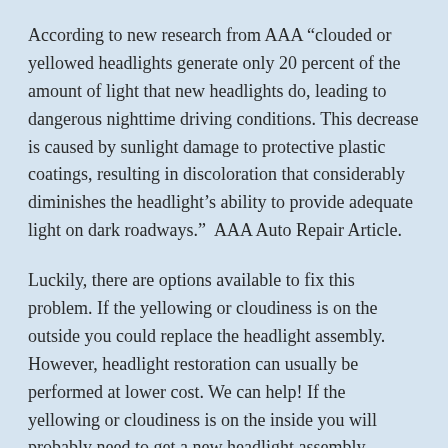According to new research from AAA “clouded or yellowed headlights generate only 20 percent of the amount of light that new headlights do, leading to dangerous nighttime driving conditions. This decrease is caused by sunlight damage to protective plastic coatings, resulting in discoloration that considerably diminishes the headlight’s ability to provide adequate light on dark roadways.”  AAA Auto Repair Article.
Luckily, there are options available to fix this problem. If the yellowing or cloudiness is on the outside you could replace the headlight assembly. However, headlight restoration can usually be performed at lower cost. We can help! If the yellowing or cloudiness is on the inside you will probably need to get a new headlight assembly.